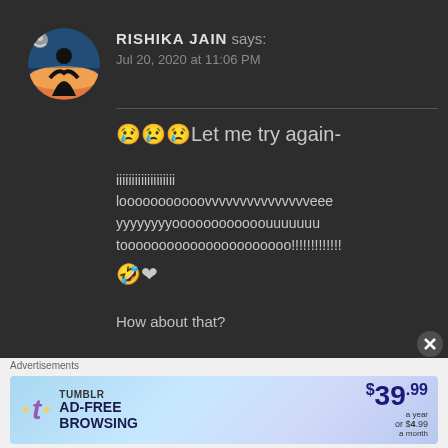[Figure (illustration): Circular avatar showing a silhouette of a person/girl against a colorful sunset background, with a small user icon badge]
RISHIKA JAIN says:
Jul 20, 2020 at 11:06 PM
😢😢😢Let me try again-

iiiiiiiiiiiiiiiiiii
looooooooooovvvvvvvvvvvvvvveee
yyyyyyyyoooooooooooouuuuuuu
toooooooooooooooooooooo!!!!!!!!!!!!!
🤣❤

How about that?
Advertisements
[Figure (screenshot): Tumblr AD-FREE BROWSING advertisement banner with price $39.99 a year or $4.99 a month]